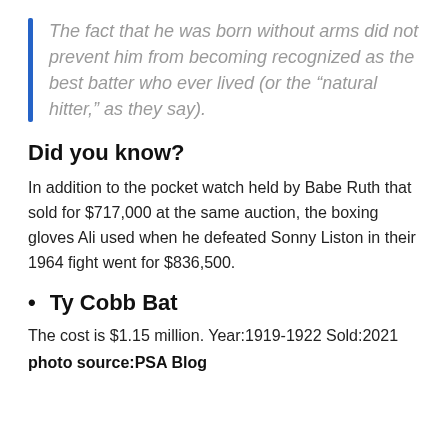The fact that he was born without arms did not prevent him from becoming recognized as the best batter who ever lived (or the “natural hitter,” as they say).
Did you know?
In addition to the pocket watch held by Babe Ruth that sold for $717,000 at the same auction, the boxing gloves Ali used when he defeated Sonny Liston in their 1964 fight went for $836,500.
Ty Cobb Bat
The cost is $1.15 million. Year:1919-1922 Sold:2021
photo source:PSA Blog